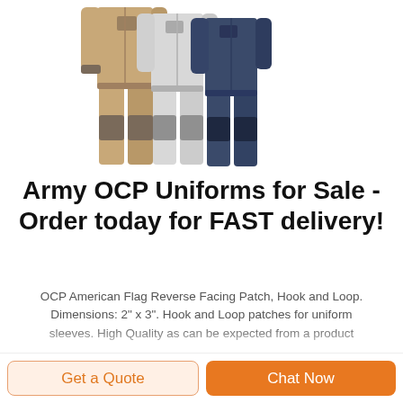[Figure (photo): Product photo showing multiple work coveralls/jumpsuits in tan/khaki, light grey, and navy blue colors with dark grey knee and elbow reinforcement patches, displayed side by side as if worn]
Army OCP Uniforms for Sale - Order today for FAST delivery!
OCP American Flag Reverse Facing Patch, Hook and Loop. Dimensions: 2" x 3". Hook and Loop patches for uniform sleeves. High Quality as can be expected from a product
Get a Quote
Chat Now